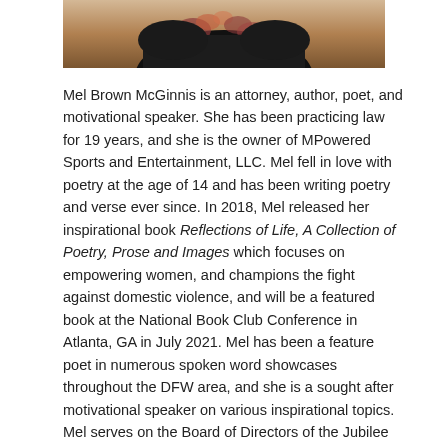[Figure (photo): Partial photo of Mel Brown McGinnis, showing bottom portion of a person wearing a floral-patterned outfit against a dark background]
Mel Brown McGinnis is an attorney, author, poet, and motivational speaker. She has been practicing law for 19 years, and she is the owner of MPowered Sports and Entertainment, LLC. Mel fell in love with poetry at the age of 14 and has been writing poetry and verse ever since. In 2018, Mel released her inspirational book Reflections of Life, A Collection of Poetry, Prose and Images which focuses on empowering women, and champions the fight against domestic violence, and will be a featured book at the National Book Club Conference in Atlanta, GA in July 2021. Mel has been a feature poet in numerous spoken word showcases throughout the DFW area, and she is a sought after motivational speaker on various inspirational topics. Mel serves on the Board of Directors of the Jubilee Theatre in Fort Worth, Texas. She is also Co-Executive Producer